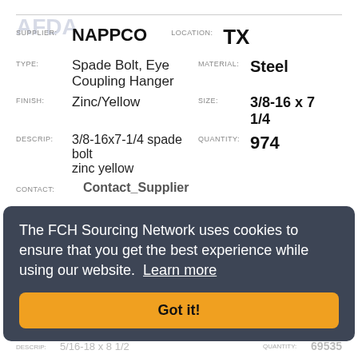SUPPLIER: NAPPCO   LOCATION: TX
TYPE: Spade Bolt, Eye Coupling Hanger   MATERIAL: Steel
FINISH: Zinc/Yellow   SIZE: 3/8-16 x 7 1/4
DESCRIP: 3/8-16x7-1/4 spade bolt zinc yellow   QUANTITY: 974
CONTACT: Contact_Supplier
The FCH Sourcing Network uses cookies to ensure that you get the best experience while using our website. Learn more
Got it!
TYPE: Spade Bolt, Eye Coupling Hanger   MATERIAL: Steel
FINISH: Plain   SIZE: 5/16-18 x 8 1/2
DESCRIP: 5/16-18 x 8 1/2   QUANTITY: 69535